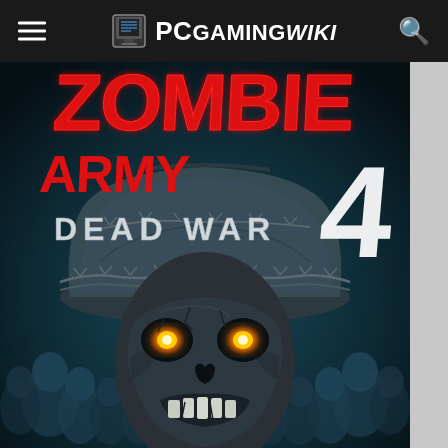PCGamingWiki
[Figure (illustration): Zombie Army 4: Dead War game cover art showing a zombie soldier with glowing orange eyes wearing a military helmet wrapped in barbed wire, with a crowd of zombies in the background. Red grunge-style text reads 'ZOMBIE ARMY 4 DEAD WAR' at the top.]